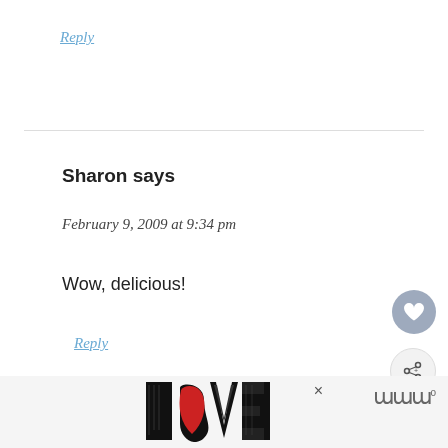Reply
Sharon says
February 9, 2009 at 9:34 pm
Wow, delicious!
Reply
[Figure (screenshot): WHAT'S NEXT panel with a bird/plane image and text 'It's A Bird! A Plane!']
[Figure (illustration): LOVE decorative text logo in black and white with red detail, and an X close button, partial ad bar at bottom]